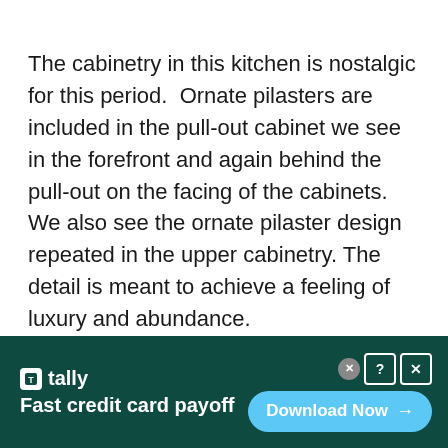The cabinetry in this kitchen is nostalgic for this period.  Ornate pilasters are included in the pull-out cabinet we see in the forefront and again behind the pull-out on the facing of the cabinets. We also see the ornate pilaster design repeated in the upper cabinetry. The detail is meant to achieve a feeling of luxury and abundance.
[Figure (other): Advertisement banner for Tally app — dark green background with Tally logo and text 'Fast credit card payoff' on the left, and a 'Download Now' button with arrow on the right. Close/help/X buttons in the top-right corner.]